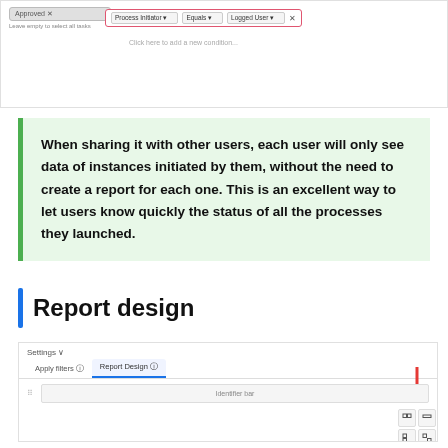[Figure (screenshot): UI screenshot showing a filter configuration with Process Initiator, Equals, Logged User dropdowns highlighted in a pink/red border, and a 'Leave empty to select all tasks' label.]
When sharing it with other users, each user will only see data of instances initiated by them, without the need to create a report for each one. This is an excellent way to let users know quickly the status of all the processes they launched.
Report design
[Figure (screenshot): UI screenshot showing Settings menu, Apply filters and Report Design tabs, with a red arrow pointing to layout icon buttons on the right, and an Identifier bar widget below.]